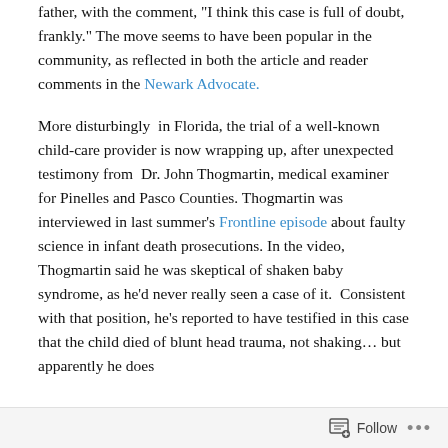father, with the comment, "I think this case is full of doubt, frankly." The move seems to have been popular in the community, as reflected in both the article and reader comments in the Newark Advocate.
More disturbingly in Florida, the trial of a well-known child-care provider is now wrapping up, after unexpected testimony from Dr. John Thogmartin, medical examiner for Pinelles and Pasco Counties. Thogmartin was interviewed in last summer's Frontline episode about faulty science in infant death prosecutions. In the video, Thogmartin said he was skeptical of shaken baby syndrome, as he'd never really seen a case of it. Consistent with that position, he's reported to have testified in this case that the child died of blunt head trauma, not shaking… but apparently he does
Follow